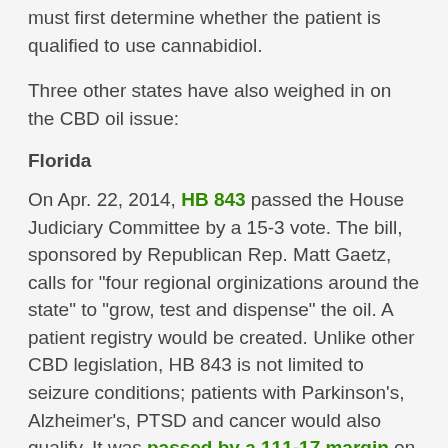must first determine whether the patient is qualified to use cannabidiol.
Three other states have also weighed in on the CBD oil issue:
Florida
On Apr. 22, 2014, HB 843 passed the House Judiciary Committee by a 15-3 vote. The bill, sponsored by Republican Rep. Matt Gaetz, calls for "four regional orginizations around the state" to "grow, test and dispense" the oil. A patient registry would be created. Unlike other CBD legislation, HB 843 is not limited to seizure conditions; patients with Parkinson's, Alzheimer's, PTSD and cancer would also qualify. It was passed by a 111-17 margin on May 1. The Senate version passed the bill by a 36-3 margin on May 2. Gov. Rick Scott signed the bill into lawinth state to legalize CBD oil on June 16, 2014.
On Nov. 8, Florida voters to legalized medical marijuana